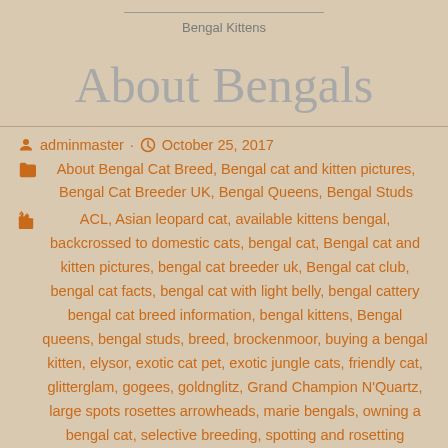Bengal Kittens
About Bengals
adminmaster · October 25, 2017
About Bengal Cat Breed, Bengal cat and kitten pictures, Bengal Cat Breeder UK, Bengal Queens, Bengal Studs
ACL, Asian leopard cat, available kittens bengal, backcrossed to domestic cats, bengal cat, Bengal cat and kitten pictures, bengal cat breeder uk, Bengal cat club, bengal cat facts, bengal cat with light belly, bengal cattery bengal cat breed information, bengal kittens, Bengal queens, bengal studs, breed, brockenmoor, buying a bengal kitten, elysor, exotic cat pet, exotic jungle cats, friendly cat, glitterglam, gogees, goldnglitz, Grand Champion N'Quartz, large spots rosettes arrowheads, marie bengals, owning a bengal cat, selective breeding, spotting and rosetting pattern, The International